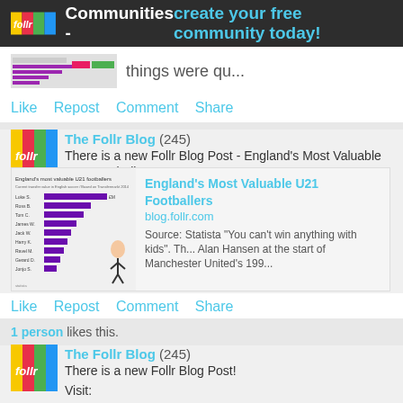follr Communities - create your free community today!
[Figure (screenshot): Partial post with thumbnail showing a chart and text 'things were qu...']
Like   Repost   Comment   Share
[Figure (logo): Follr logo avatar]
The Follr Blog (245)
There is a new Follr Blog Post - England's Most Valuable U21 Footballe...
[Figure (infographic): England's Most Valuable U21 Footballers bar chart infographic with footballer image]
England's Most Valuable U21 Footballers
blog.follr.com
Source: Statista "You can't win anything with kids". Th... Alan Hansen at the start of Manchester United's 199...
Like   Repost   Comment   Share
1 person likes this.
[Figure (logo): Follr logo avatar]
The Follr Blog (245)
There is a new Follr Blog Post!
Visit:
http://blog.follr.com